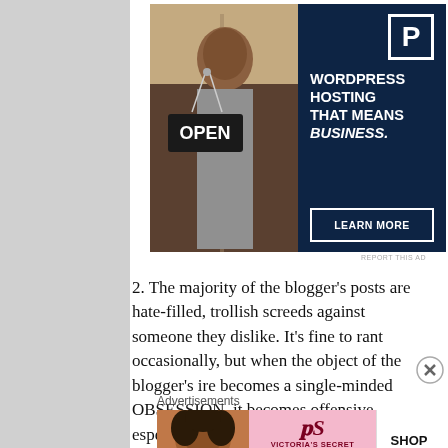[Figure (photo): Advertisement banner: photo of a smiling woman holding an OPEN sign in a shop window, next to a dark navy panel with a 'P' logo, text 'WORDPRESS HOSTING THAT MEANS BUSINESS.' and a 'LEARN MORE' button]
REPORT THIS AD
2. The majority of the blogger's posts are hate-filled, trollish screeds against someone they dislike. It's fine to rant occasionally, but when the object of the blogger's ire becomes a single-minded OBSESSION, it becomes offensive, especially if it's meant to slander an individual (who is likely a public figure). No one wants to read a
Advertisements
[Figure (photo): Victoria's Secret advertisement banner: woman with curly hair, Victoria's Secret logo, text 'SHOP THE COLLECTION' and 'SHOP NOW' button]